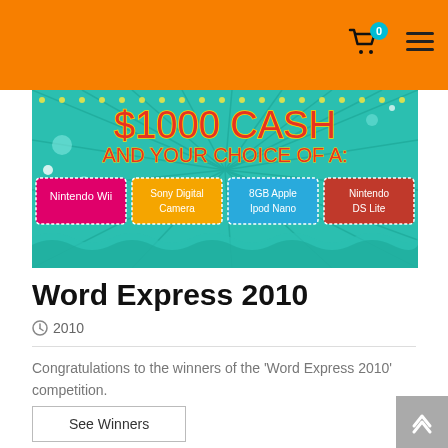Navigation header with cart (0) and hamburger menu
[Figure (illustration): Promotional banner showing '$1000 CASH AND YOUR CHOICE OF A:' with four prize boxes: Nintendo Wii (pink), Sony Digital Camera (yellow), 8GB Apple iPod Nano (blue), Nintendo DS Lite (red/dark pink). Teal/aqua starburst background with decorative dots and patterns.]
Word Express 2010
2010
Congratulations to the winners of the 'Word Express 2010' competition.
See Winners